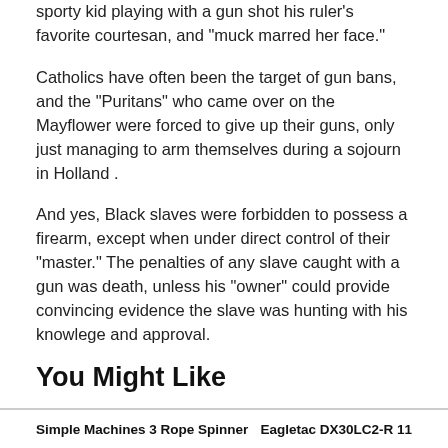sporty kid playing with a gun shot his ruler's favorite courtesan, and “muck marred her face.”
Catholics have often been the target of gun bans, and the “Puritans” who came over on the Mayflower were forced to give up their guns, only just managing to arm themselves during a sojourn in Holland .
And yes, Black slaves were forbidden to possess a firearm, except when under direct control of their “master.” The penalties of any slave caught with a gun was death, unless his “owner” could provide convincing evidence the slave was hunting with his knowlege and approval.
You Might Like
Simple Machines 3 Rope Spinner | Eagletac DX30LC2-R 11